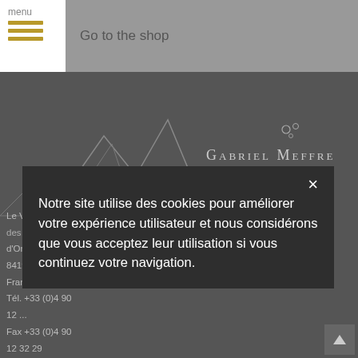menu | Go to the shop
[Figure (screenshot): Gabriel Meffre winery website screenshot showing navigation bar with menu hamburger icon, 'Go to the shop' link, dark background with mountain map, address details, and Gabriel Meffre logo]
Le Village, 2 route des Princes d'Orange
84190 Gigondas
France
Tél. +33 (0)4 90
12 ...
Fax +33 (0)4 90
12 32 29
Email : gabriel-
Notre site utilise des cookies pour améliorer votre expérience utilisateur et nous considérons que vous acceptez leur utilisation si vous continuez votre navigation.